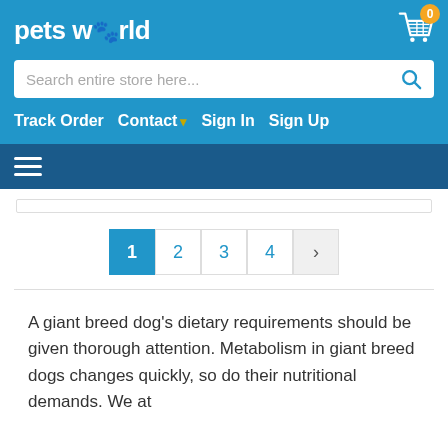[Figure (logo): Pets World logo with paw print icon in white text on blue background]
[Figure (screenshot): Shopping cart icon with orange badge showing 0 items]
Search entire store here...
Track Order   Contact   Sign In   Sign Up
[Figure (screenshot): Hamburger menu icon (three horizontal white lines on dark blue background)]
[Figure (screenshot): Truncated product card bottom border]
1  2  3  4  >
A giant breed dog's dietary requirements should be given thorough attention. Metabolism in giant breed dogs changes quickly, so do their nutritional demands. We at